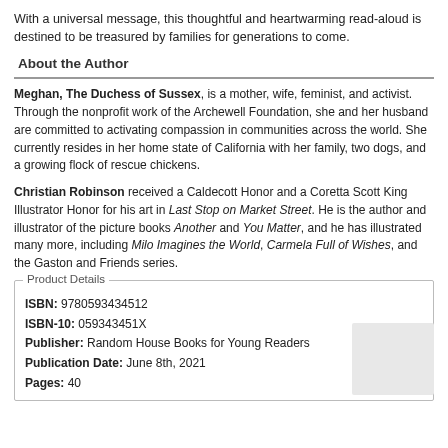With a universal message, this thoughtful and heartwarming read-aloud is destined to be treasured by families for generations to come.
About the Author
Meghan, The Duchess of Sussex, is a mother, wife, feminist, and activist. Through the nonprofit work of the Archewell Foundation, she and her husband are committed to activating compassion in communities across the world. She currently resides in her home state of California with her family, two dogs, and a growing flock of rescue chickens.
Christian Robinson received a Caldecott Honor and a Coretta Scott King Illustrator Honor for his art in Last Stop on Market Street. He is the author and illustrator of the picture books Another and You Matter, and he has illustrated many more, including Milo Imagines the World, Carmela Full of Wishes, and the Gaston and Friends series.
Product Details
ISBN: 9780593434512
ISBN-10: 059343451X
Publisher: Random House Books for Young Readers
Publication Date: June 8th, 2021
Pages: 40